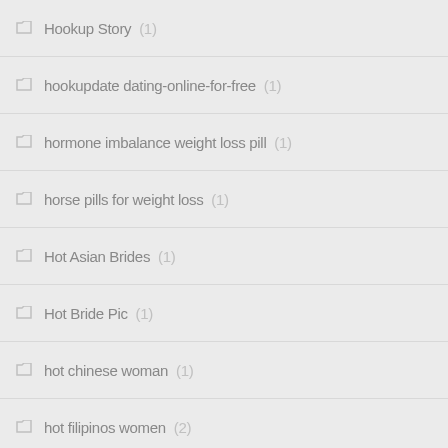Hookup Story (1)
hookupdate dating-online-for-free (1)
hormone imbalance weight loss pill (1)
horse pills for weight loss (1)
Hot Asian Brides (1)
Hot Bride Pic (1)
hot chinese woman (1)
hot filipinos women (2)
hot indian women (1)
Hot Latin Ladies (9)